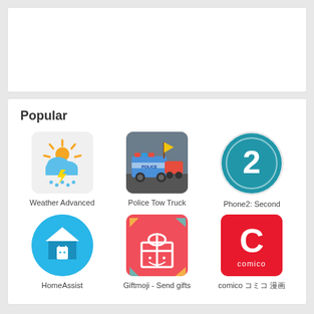[Figure (screenshot): Empty white card area at top]
Popular
[Figure (illustration): Weather Advanced app icon - cloud with sun and lightning bolt]
Weather Advanced
[Figure (photo): Police Tow Truck app icon - photo of police tow truck]
Police Tow Truck
[Figure (illustration): Phone2: Second app icon - blue circle with number 2]
Phone2: Second
[Figure (illustration): HomeAssist app icon - blue circle with house and android robot]
HomeAssist
[Figure (illustration): Giftmoji - Send gifts app icon - red/pink background with gift box emoji]
Giftmoji - Send gifts
[Figure (logo): comico app icon - red square with white C logo and comico text]
comico コミコ 漫画